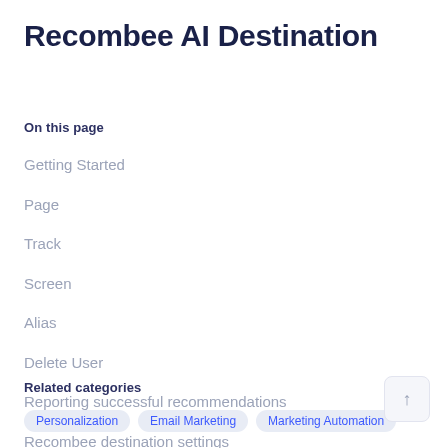Recombee AI Destination
On this page
Getting Started
Page
Track
Screen
Alias
Delete User
Reporting successful recommendations
Recombee destination settings
Related categories
Personalization  Email Marketing  Marketing Automation